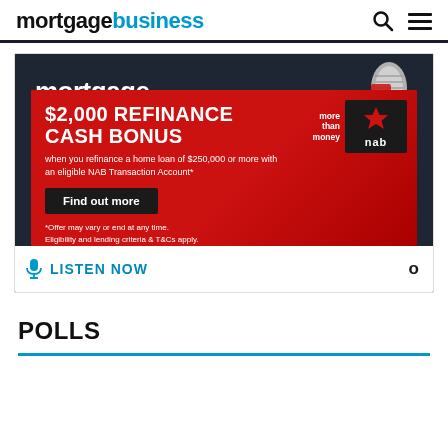mortgagebusiness
[Figure (screenshot): NAB advertisement banner on mortgagebusiness website. Dark background with 'mortgage' text and microphone graphic at top. Red overlay ad featuring '$2,000 REFINANCE CASH BONUS' headline, subtext 'when you refinance a home loan of $250,000 or more with an eligible NAB Transaction Account*', a black 'Find out more' button, NAB logo with 'more than money' tagline, and disclaimer '*Offer may vary or end at any time. Eligibility and lending criteria & T&Cs apply.' At the bottom a 'LISTEN NOW' link with microphone icon.]
POLLS